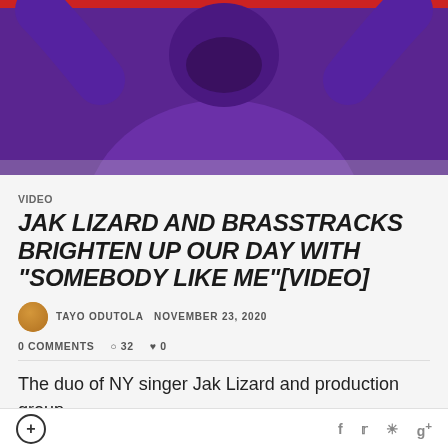[Figure (photo): Person wearing a purple and orange jacket with arms raised, photographed from below against a light background]
VIDEO
JAK LIZARD AND BRASSTRACKS BRIGHTEN UP OUR DAY WITH "SOMEBODY LIKE ME"[VIDEO]
TAYO ODUTOLA  NOVEMBER 23, 2020
0 COMMENTS  32  0
The duo of NY singer Jak Lizard and production group